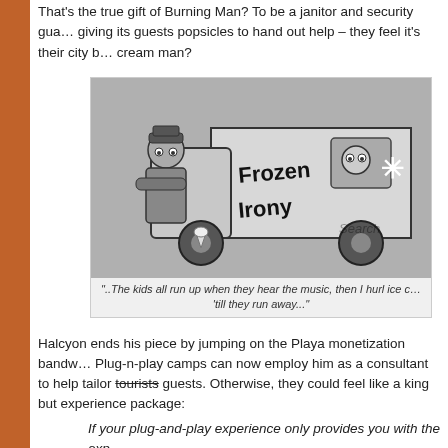That's the true gift of Burning Man? To be a janitor and security guard giving its guests popsicles to hand out help – they feel it's their city b… cream man?
[Figure (illustration): Black and white cartoon illustration of a police officer standing next to an ice cream van labeled 'Frozen Irony'. A small creature is visible in the van window. A 'Search' watermark is partially visible.]
"..The kids all run up when they hear the music, then I hurl ice c… 'till they run away..."
Halcyon ends his piece by jumping on the Playa monetization bandw… Plug-n-play camps can now employ him as a consultant to help tailor tourists (strikethrough) guests. Otherwise, they could feel like a king but experience package:
If your plug-and-play experience only provides you with the exp…